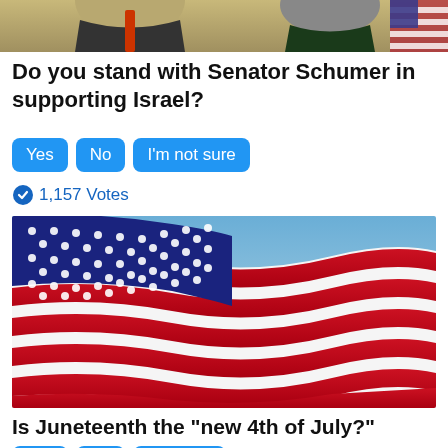[Figure (photo): Cropped photo of Senator Schumer at top of page]
Do you stand with Senator Schumer in supporting Israel?
Yes | No | I'm not sure (poll buttons)
1,157 Votes
[Figure (photo): Photo of an American flag waving against a blue sky]
Is Juneteenth the "new 4th of July?"
Yes | No | Not sure (poll buttons)